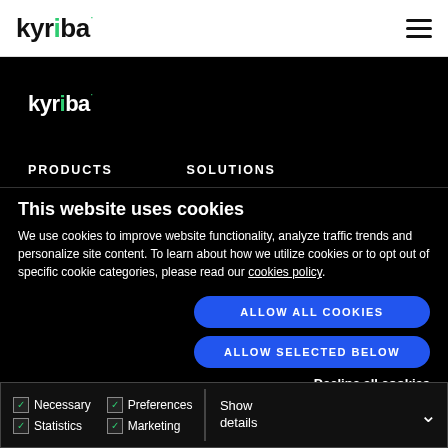kyriba [logo] — hamburger menu
[Figure (logo): Kyriba logo in white text on black background]
PRODUCTS   SOLUTIONS
This website uses cookies
We use cookies to improve website functionality, analyze traffic trends and personalize site content. To learn about how we utilize cookies or to opt out of specific cookie categories, please read our cookies policy.
ALLOW ALL COOKIES
ALLOW SELECTED BELOW
Decline all cookies
Necessary  Preferences  Statistics  Marketing  Show details